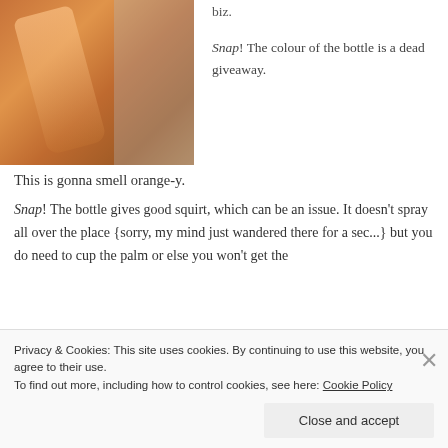[Figure (photo): Photo of an orange-colored bottle on a wooden surface]
biz.
Snap! The colour of the bottle is a dead giveaway.
This is gonna smell orange-y.
Snap! The bottle gives good squirt, which can be an issue. It doesn't spray all over the place {sorry, my mind just wandered there for a sec...} but you do need to cup the palm or else you won't get the
Privacy & Cookies: This site uses cookies. By continuing to use this website, you agree to their use.
To find out more, including how to control cookies, see here: Cookie Policy
Close and accept